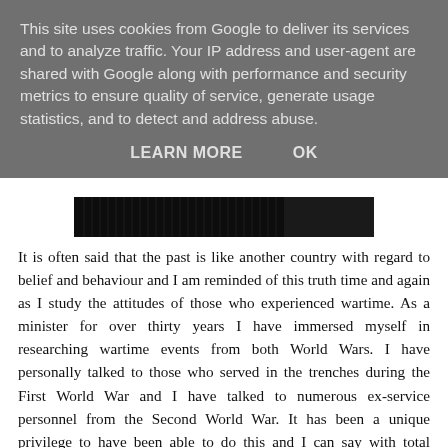This site uses cookies from Google to deliver its services and to analyze traffic. Your IP address and user-agent are shared with Google along with performance and security metrics to ensure quality of service, generate usage statistics, and to detect and address abuse.
LEARN MORE    OK
[Figure (photo): Dark image strip showing what appears to be a crowded or patterned scene, mostly black]
It is often said that the past is like another country with regard to belief and behaviour and I am reminded of this truth time and again as I study the attitudes of those who experienced wartime. As a minister for over thirty years I have immersed myself in researching wartime events from both World Wars. I have personally talked to those who served in the trenches during the First World War and I have talked to numerous ex-service personnel from the Second World War. It has been a unique privilege to have been able to do this and I can say with total conviction that an underlying faith in Almighty God was absolutely integral to keeping people in this country strong and keeping them going. They believed that God was real and in turn they